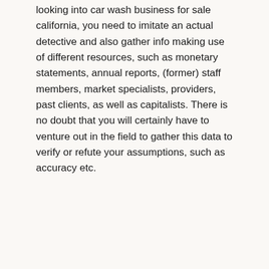looking into car wash business for sale california, you need to imitate an actual detective and also gather info making use of different resources, such as monetary statements, annual reports, (former) staff members, market specialists, providers, past clients, as well as capitalists. There is no doubt that you will certainly have to venture out in the field to gather this data to verify or refute your assumptions, such as accuracy etc.
Research: Car Wash Business For Sale California
You need to go out on the location to collect abstract information. This consists of the following: